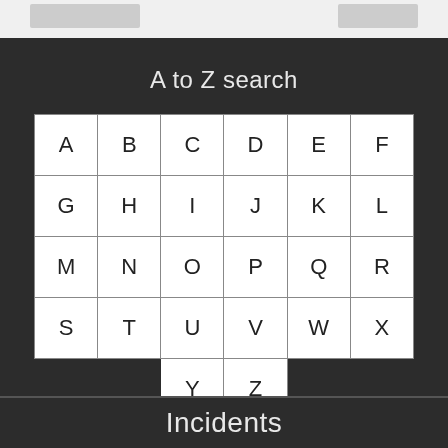A to Z search
| A | B | C | D | E | F |
| G | H | I | J | K | L |
| M | N | O | P | Q | R |
| S | T | U | V | W | X |
|  |  | Y | Z |  |  |
Incidents